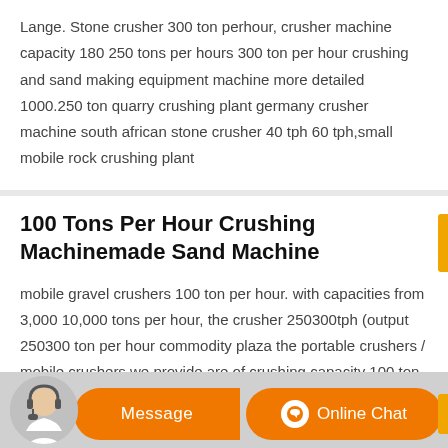Lange. Stone crusher 300 ton perhour, crusher machine capacity 180 250 tons per hours 300 ton per hour crushing and sand making equipment machine more detailed 1000.250 ton quarry crushing plant germany crusher machine south african stone crusher 40 tph 60 tph,small mobile rock crushing plant
100 Tons Per Hour Crushing Machinemade Sand Machine
mobile gravel crushers 100 ton per hour. with capacities from 3,000 10,000 tons per hour, the crusher 250300tph (output 250300 ton per hour commodity plaza the portable crushers / mobile crushers we provide are of crushing capacity 100 ton per hour to 200 ton per hour . concrete waste can be converted into useful aggregate